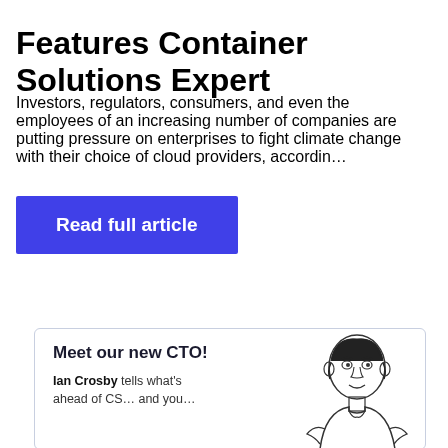Features Container Solutions Expert
Investors, regulators, consumers, and even the employees of an increasing number of companies are putting pressure on enterprises to fight climate change with their choice of cloud providers, accordin…
Read full article
Meet our new CTO!
Ian Crosby tells what's ahead of CS… and you…